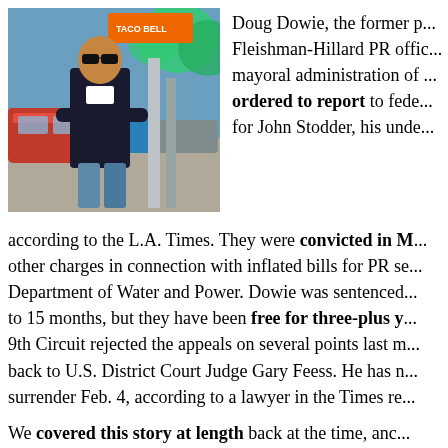[Figure (photo): Man in black jacket with sunglasses standing in a parking lot with cars behind him]
Doug Dowie, the former p... Fleishman-Hillard PR offic... mayoral administration of ... ordered to report to fede... for John Stodder, his unde... according to the L.A. Times. They were convicted in M... other charges in connection with inflated bills for PR se... Department of Water and Power. Dowie was sentenced... to 15 months, but they have been free for three-plus y... 9th Circuit rejected the appeals on several points last m... back to U.S. District Court Judge Gary Feess. He has n... surrender Feb. 4, according to a lawyer in the Times re...
We covered this story at length back at the time, anc... Dowie for Los Angeles Magazine. He is the former ma... News and UPI bureau chief who transitioned to politics...